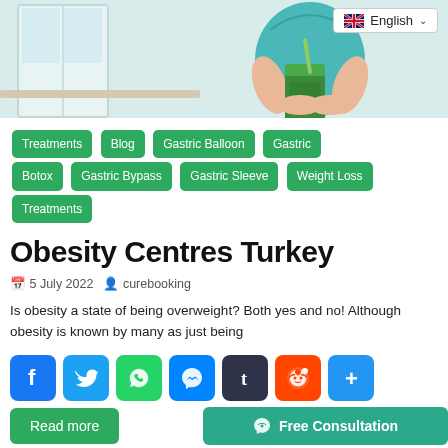[Figure (photo): Hero image showing a person in athletic wear holding a green smoothie jar, with a language selector overlay showing English flag and dropdown]
Treatments
Blog
Gastric Balloon
Gastric Botox
Gastric Bypass
Gastric Sleeve
Weight Loss Treatments
Obesity Centres Turkey
5 July 2022   curebooking
Is obesity a state of being overweight? Both yes and no! Although obesity is known by many as just being
[Figure (other): Social sharing buttons row: Facebook, Twitter, WhatsApp, Messenger, Tumblr, Reddit, Share]
Read more
Free Consultation